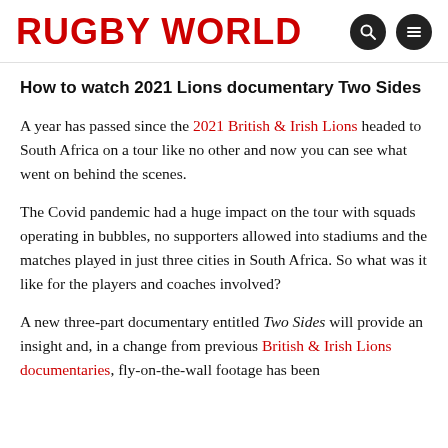RUGBY WORLD
How to watch 2021 Lions documentary Two Sides
A year has passed since the 2021 British & Irish Lions headed to South Africa on a tour like no other and now you can see what went on behind the scenes.
The Covid pandemic had a huge impact on the tour with squads operating in bubbles, no supporters allowed into stadiums and the matches played in just three cities in South Africa. So what was it like for the players and coaches involved?
A new three-part documentary entitled Two Sides will provide an insight and, in a change from previous British & Irish Lions documentaries, fly-on-the-wall footage has been